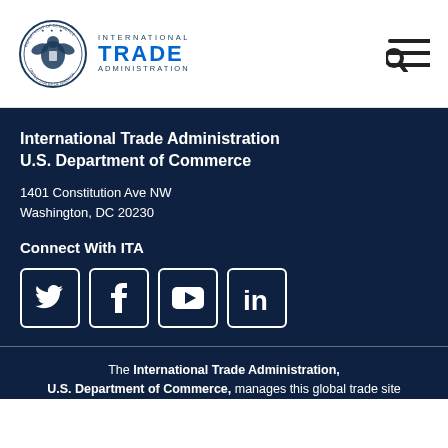[Figure (logo): Department of Commerce seal and International Trade Administration logo]
[Figure (illustration): Search and menu navigation icons (hamburger and search)]
International Trade Administration
U.S. Department of Commerce
1401 Constitution Ave NW
Washington, DC 20230
Connect With ITA
[Figure (illustration): Social media icons: Twitter, Facebook, YouTube, LinkedIn]
The International Trade Administration, U.S. Department of Commerce, manages this global trade site